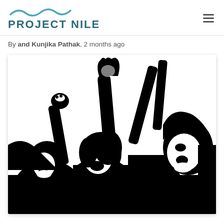PROJECT NILE
By and Kunjika Pathak, 2 months ago
[Figure (illustration): Black and white high-contrast illustration of four women raising their fists and arms in protest, mouths open as if shouting, in a powerful activist pose.]